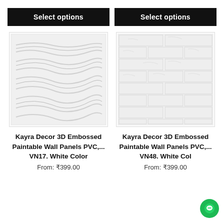Select options
Select options
[Figure (photo): White 3D embossed wave-pattern wall panel (VN17)]
[Figure (photo): White 3D embossed brick-pattern wall panel (VN48)]
Kayra Decor 3D Embossed Paintable Wall Panels PVC,... VN17. White Color
From: ₹399.00
Kayra Decor 3D Embossed Paintable Wall Panels PVC,... VN48. White Color
From: ₹399.00